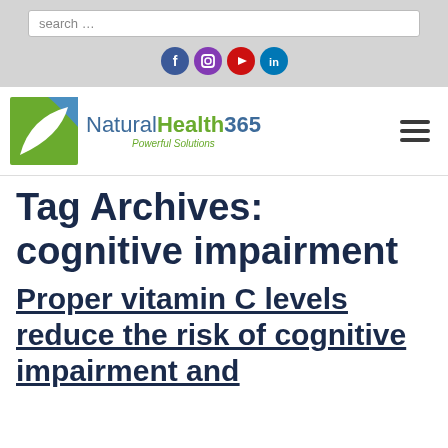search ...
[Figure (other): Social media icons: Facebook, Instagram, YouTube, LinkedIn]
[Figure (logo): NaturalHealth365 logo with leaf icon and tagline 'Powerful Solutions']
Tag Archives: cognitive impairment
Proper vitamin C levels reduce the risk of cognitive impairment and